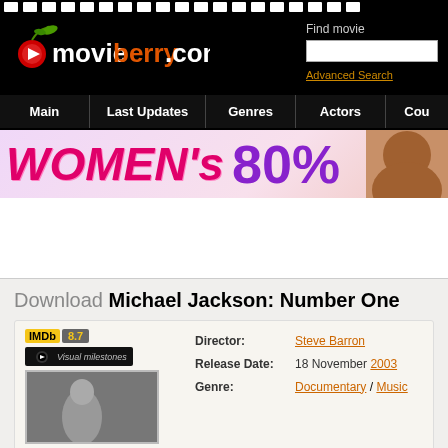[Figure (screenshot): Film strip decoration at top of page]
[Figure (logo): movieberry.com logo with cherry icon on black background]
Find movie
Advanced Search
Main | Last Updates | Genres | Actors | Cou...
[Figure (photo): Women's banner advertisement showing large stylized text WOMEN's and 80% in purple]
Download Michael Jackson: Number One
IMDb 8.7
[Figure (illustration): Visual milestones logo/badge]
Director: Steve Barron
Release Date: 18 November 2003
Genre: Documentary / Music